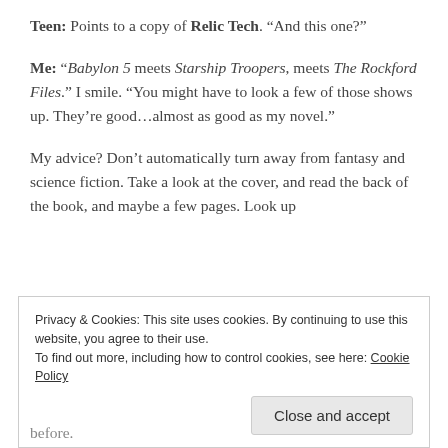Teen: Points to a copy of Relic Tech. “And this one?”
Me: “Babylon 5 meets Starship Troopers, meets The Rockford Files.” I smile. “You might have to look a few of those shows up. They’re good…almost as good as my novel.”
My advice? Don’t automatically turn away from fantasy and science fiction. Take a look at the cover, and read the back of the book, and maybe a few pages. Look up
Privacy & Cookies: This site uses cookies. By continuing to use this website, you agree to their use.
To find out more, including how to control cookies, see here: Cookie Policy
Close and accept
before.